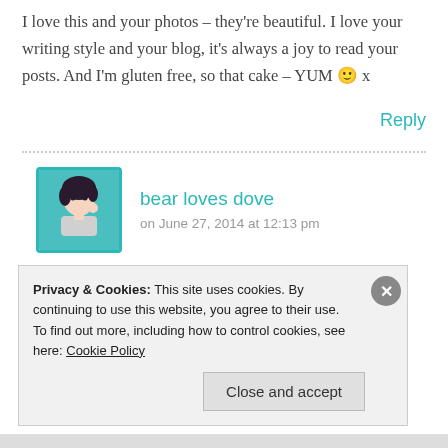I love this and your photos – they're beautiful. I love your writing style and your blog, it's always a joy to read your posts. And I'm gluten free, so that cake – YUM 🙂 x
Reply
bear loves dove
on June 27, 2014 at 12:13 pm
Privacy & Cookies: This site uses cookies. By continuing to use this website, you agree to their use.
To find out more, including how to control cookies, see here: Cookie Policy